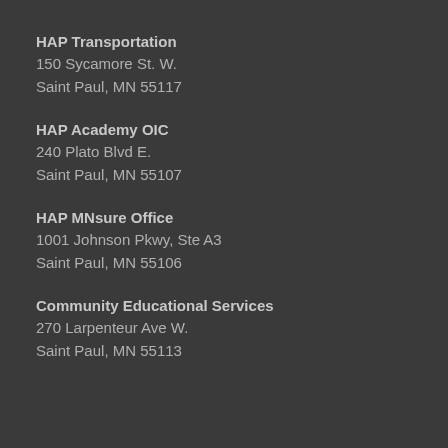HAP Transportation
150 Sycamore St. W.
Saint Paul, MN 55117
HAP Academy OIC
240 Plato Blvd E.
Saint Paul, MN 55107
HAP MNsure Office
1001 Johnson Pkwy, Ste A3
Saint Paul, MN 55106
Community Educational Services
270 Larpenteur Ave W.
Saint Paul, MN 55113